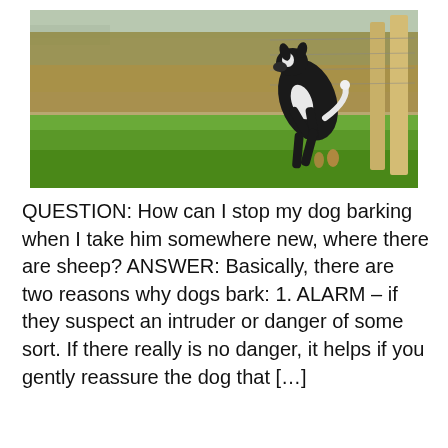[Figure (photo): A black and white collie dog jumping or leaping near a wire fence, with brown shrubs and green grass in the background outdoors.]
QUESTION: How can I stop my dog barking when I take him somewhere new, where there are sheep? ANSWER: Basically, there are two reasons why dogs bark: 1. ALARM – if they suspect an intruder or danger of some sort. If there really is no danger, it helps if you gently reassure the dog that […]